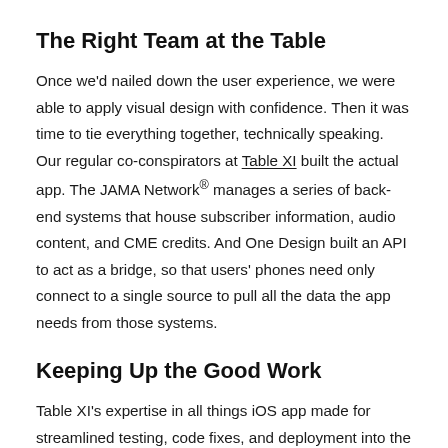The Right Team at the Table
Once we'd nailed down the user experience, we were able to apply visual design with confidence. Then it was time to tie everything together, technically speaking. Our regular co-conspirators at Table XI built the actual app. The JAMA Network® manages a series of back-end systems that house subscriber information, audio content, and CME credits. And One Design built an API to act as a bridge, so that users' phones need only connect to a single source to pull all the data the app needs from those systems.
Keeping Up the Good Work
Table XI's expertise in all things iOS app made for streamlined testing, code fixes, and deployment into the App Store. Now they're ensuring the app's continued health by monitoring usage, analyzing user